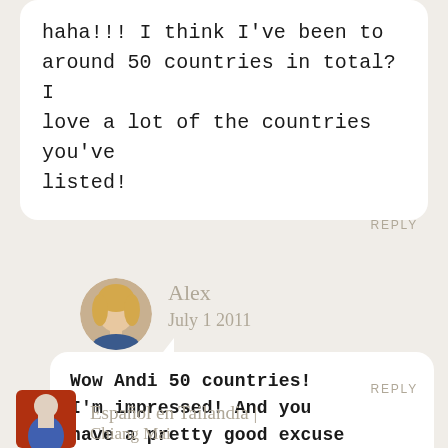haha!!! I think I've been to around 50 countries in total? I love a lot of the countries you've listed!
REPLY
Alex
July 1 2011
Wow Andi 50 countries! I'm impressed! And you have a pretty good excuse for the Argentina addiction 🙂
REPLY
Español en Tailandia | Chiang Mai